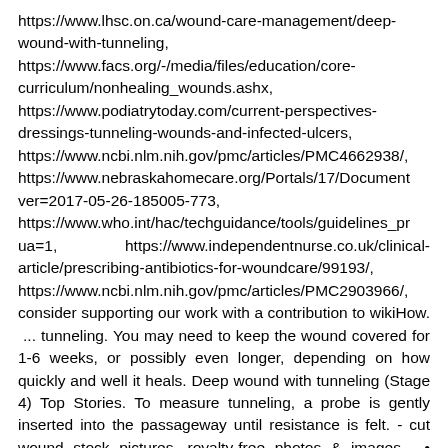https://www.lhsc.on.ca/wound-care-management/deep-wound-with-tunneling, https://www.facs.org/-/media/files/education/core-curriculum/nonhealing_wounds.ashx, https://www.podiatrytoday.com/current-perspectives-dressings-tunneling-wounds-and-infected-ulcers, https://www.ncbi.nlm.nih.gov/pmc/articles/PMC4662938/, https://www.nebraskahomecare.org/Portals/17/Documents/...ver=2017-05-26-185005-773, https://www.who.int/hac/techguidance/tools/guidelines_pr...ua=1, https://www.independentnurse.co.uk/clinical-article/prescribing-antibiotics-for-woundcare/99193/, https://www.ncbi.nlm.nih.gov/pmc/articles/PMC2903966/, consider supporting our work with a contribution to wikiHow. ... tunneling. You may need to keep the wound covered for 1-6 weeks, or possibly even longer, depending on how quickly and well it heals. Deep wound with tunneling (Stage 4) Top Stories. To measure tunneling, a probe is gently inserted into the passageway until resistance is felt. - cut wound stock pictures, royalty-free photos & images . • Gently insert the moistened end of the dressing (softened)